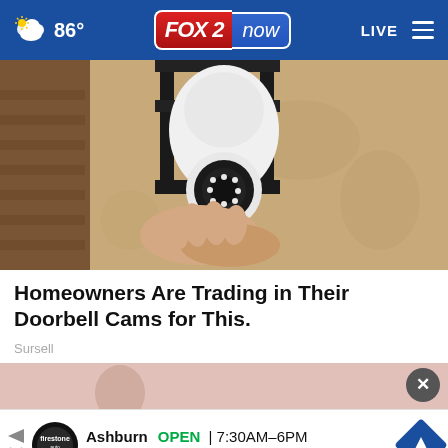86° FOX 2 now LIVE
[Figure (photo): A person installing a white security camera into an outdoor lantern-style light fixture mounted on a textured stucco wall.]
Homeowners Are Trading in Their Doorbell Cams for This.
Sursell
[Figure (photo): Partial bottom photo with a woman in background and advertisement overlay. Ad shows: Ashburn OPEN 7:30AM–6PM, 43781 Parkhurst Plaza, Ashburn with Firestone Auto Care logo and navigation icon.]